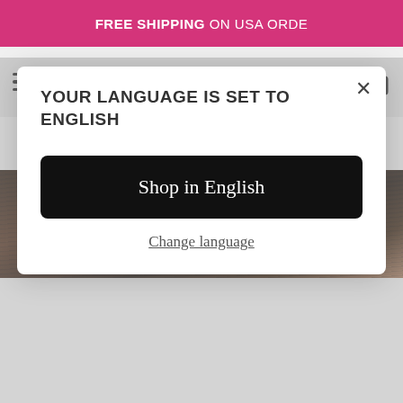FREE SHIPPING ON USA ORDE
[Figure (screenshot): Bella All Natural logo with hamburger menu, search and cart icons on gray navigation bar]
[Figure (infographic): Language selection modal dialog with title 'YOUR LANGUAGE IS SET TO ENGLISH', a black 'Shop in English' button, and a 'Change language' underlined link. Close (X) button in top right corner.]
in your hair. That melanin is a natural pigment and is what is responsible for your hair color.
[Figure (photo): Close-up photo of dark hair being touched by a hand]